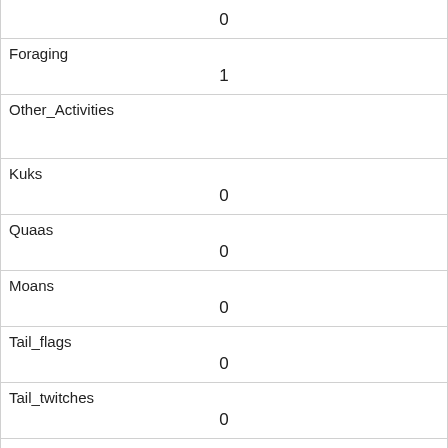|  | 0 |
| Foraging | 1 |
| Other_Activities |  |
| Kuks | 0 |
| Quaas | 0 |
| Moans | 0 |
| Tail_flags | 0 |
| Tail_twitches | 0 |
| Approaches | 0 |
| Indifferent | 0 |
| Runs_from | 0 |